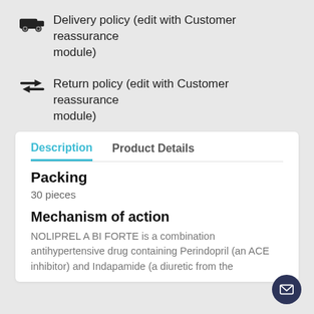Delivery policy (edit with Customer reassurance module)
Return policy (edit with Customer reassurance module)
Description	Product Details
Packing
30 pieces
Mechanism of action
NOLIPREL A BI FORTE is a combination antihypertensive drug containing Perindopril (an ACE inhibitor) and Indapamide (a diuretic from the